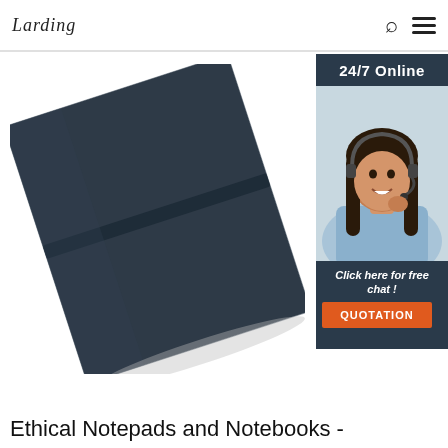Lardini | search | menu
[Figure (photo): A dark navy/charcoal hardcover notebook with elastic band closure, photographed at an angle on a white background]
[Figure (infographic): Sidebar widget with '24/7 Online' banner, photo of female customer service agent wearing headset, text 'Click here for free chat!' and an orange 'QUOTATION' button]
Ethical Notepads and Notebooks -